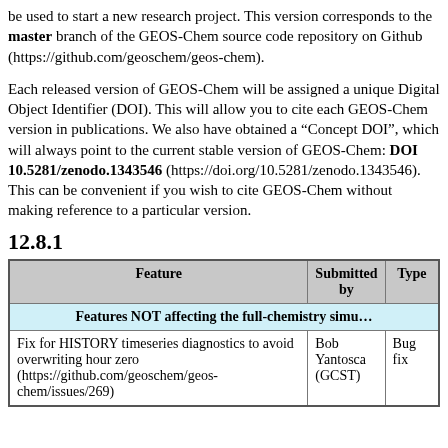be used to start a new research project. This version corresponds to the master branch of the GEOS-Chem source code repository on Github (https://github.com/geoschem/geos-chem).
Each released version of GEOS-Chem will be assigned a unique Digital Object Identifier (DOI). This will allow you to cite each GEOS-Chem version in publications. We also have obtained a "Concept DOI", which will always point to the current stable version of GEOS-Chem: DOI 10.5281/zenodo.1343546 (https://doi.org/10.5281/zenodo.1343546). This can be convenient if you wish to cite GEOS-Chem without making reference to a particular version.
12.8.1
| Feature | Submitted by | Type |
| --- | --- | --- |
| Features NOT affecting the full-chemistry simu… |  |  |
| Fix for HISTORY timeseries diagnostics to avoid overwriting hour zero (https://github.com/geoschem/geos-chem/issues/269) | Bob Yantosca (GCST) | Bug fix |